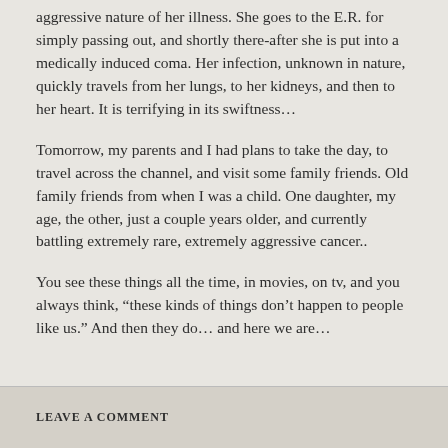aggressive nature of her illness. She goes to the E.R. for simply passing out, and shortly there-after she is put into a medically induced coma. Her infection, unknown in nature, quickly travels from her lungs, to her kidneys, and then to her heart. It is terrifying in its swiftness...
Tomorrow, my parents and I had plans to take the day, to travel across the channel, and visit some family friends. Old family friends from when I was a child. One daughter, my age, the other, just a couple years older, and currently battling extremely rare, extremely aggressive cancer..
You see these things all the time, in movies, on tv, and you always think, “these kinds of things don’t happen to people like us.” And then they do... and here we are...
LEAVE A COMMENT